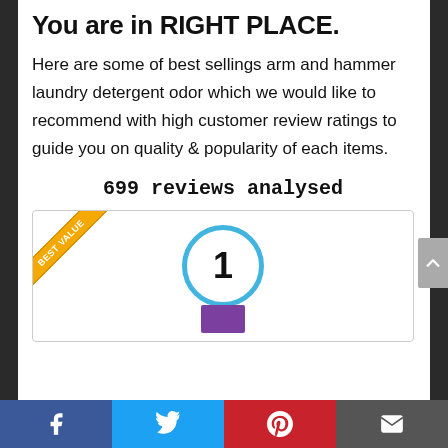You are in RIGHT PLACE.
Here are some of best sellings arm and hammer laundry detergent odor which we would like to recommend with high customer review ratings to guide you on quality & popularity of each items.
699 reviews analysed
[Figure (infographic): A product card with a 'Best Value' diagonal ribbon in gold in the top-left corner, a numbered blue circle with '1' in the center, and a purple product image at the bottom.]
Social sharing bar with Facebook, Twitter, Pinterest, and Email buttons.